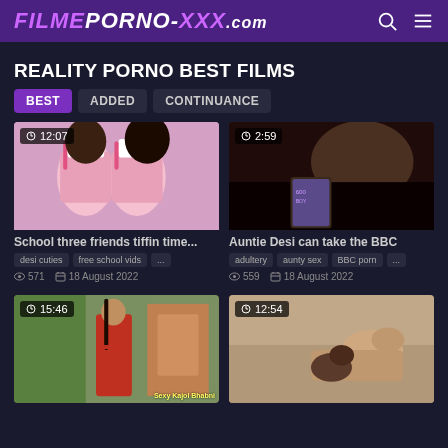FILMEPORNO-XXX.com
REALITY PORNO BEST FILMS
BEST | ADDED | CONTINUANCE
[Figure (screenshot): Video thumbnail showing school girls in pink uniforms with clock icon and duration 12:07]
School three friends tiffin time...
desi cuties  free school vids  ...  571  18 August 2022
[Figure (screenshot): Video thumbnail dark scene with clock icon and duration 2:59]
Auntie Desi can take the BBC
adultery  aunty sex  BBC porn  ...  559  18 August 2022
[Figure (screenshot): Video thumbnail showing woman in red sari, duration 15:46, watermark Sexy Kajol Bhabhi]
[Figure (screenshot): Video thumbnail showing person, duration 12:54]